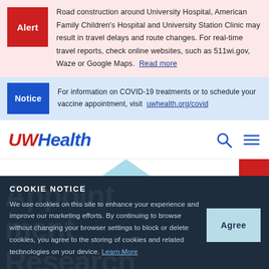Road construction around University Hospital, American Family Children's Hospital and University Station Clinic may result in travel delays and route changes. For real-time travel reports, check online websites, such as 511wi.gov, Waze or Google Maps. Read more
For information on COVID-19 treatments or to schedule your vaccine appointment, visit uwhealth.org/covid
[Figure (logo): UW Health logo in red and blue italic text with search and menu icons]
COOKIE NOTICE
We use cookies on this site to enhance your experience and improve our marketing efforts. By continuing to browse without changing your browser settings to block or delete cookies, you agree to the storing of cookies and related technologies on your device. Learn More